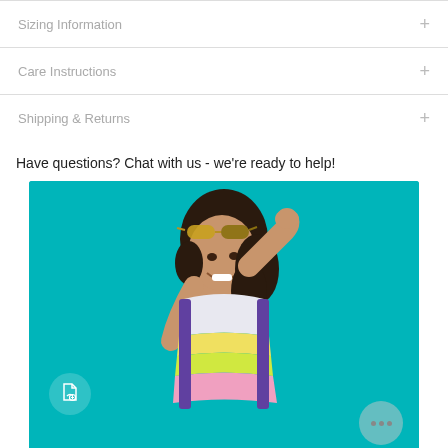Sizing Information +
Care Instructions +
Shipping & Returns +
Have questions? Chat with us - we're ready to help!
[Figure (photo): A smiling girl with curly hair and sunglasses on her head, wearing a colorful rainbow striped sleeveless swimsuit on a teal background]